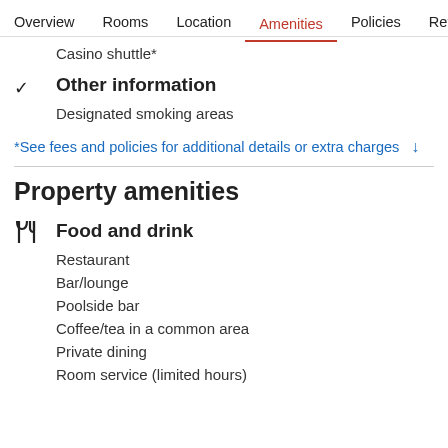Overview  Rooms  Location  Amenities  Policies  Reviews
Casino shuttle*
Other information
Designated smoking areas
*See fees and policies for additional details or extra charges ↓
Property amenities
Food and drink
Restaurant
Bar/lounge
Poolside bar
Coffee/tea in a common area
Private dining
Room service (limited hours)